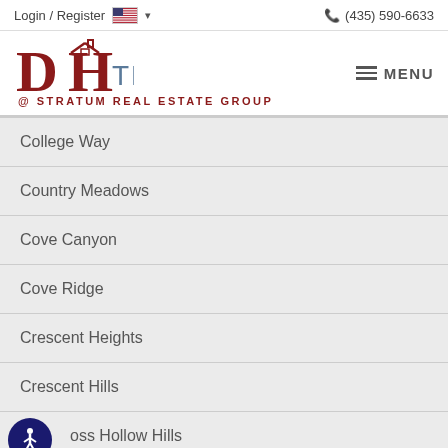Login / Register   (435) 590-6633
DH TEAM @ STRATUM REAL ESTATE GROUP
College Way
Country Meadows
Cove Canyon
Cove Ridge
Crescent Heights
Crescent Hills
Cross Hollow Hills
Del Mar